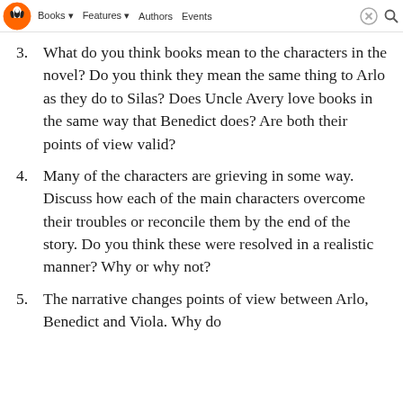Books · Features · Authors · Events
3. What do you think books mean to the characters in the novel? Do you think they mean the same thing to Arlo as they do to Silas? Does Uncle Avery love books in the same way that Benedict does? Are both their points of view valid?
4. Many of the characters are grieving in some way. Discuss how each of the main characters overcome their troubles or reconcile them by the end of the story. Do you think these were resolved in a realistic manner? Why or why not?
5. The narrative changes points of view between Arlo, Benedict and Viola. Why do